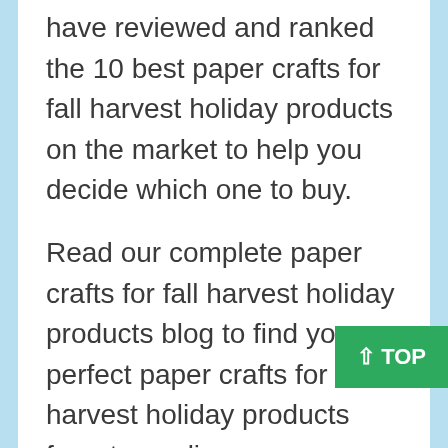have reviewed and ranked the 10 best paper crafts for fall harvest holiday products on the market to help you decide which one to buy.
Read our complete paper crafts for fall harvest holiday products blog to find your perfect paper crafts for fall harvest holiday products from top online resources. The paper crafts for fall harvest holiday products in the blog are all products of high quality and low price!